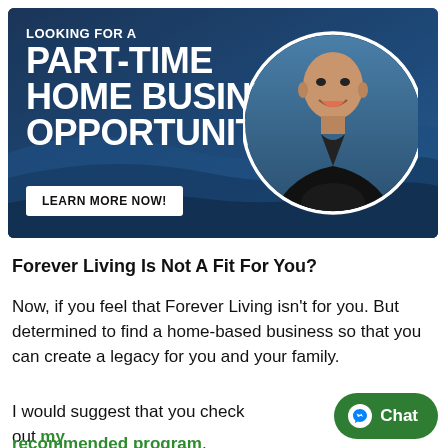[Figure (photo): Promotional banner with dark blue gradient background, bold white text reading 'LOOKING FOR A PART-TIME HOME BUSINESS OPPORTUNITY?', a 'LEARN MORE NOW!' button, and a circular portrait photo of a bald Asian man in a black embroidered jacket.]
Forever Living Is Not A Fit For You?
Now, if you feel that Forever Living isn't for you. But determined to find a home-based business so that you can create a legacy for you and your family.
I would suggest that you check out my recommended program.